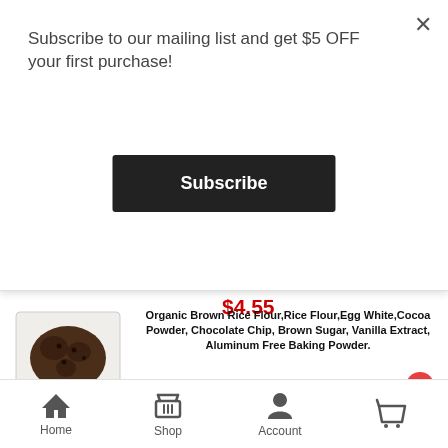Subscribe to our mailing list and get $5 OFF your first purchase!
Subscribe
$4.55
[Figure (photo): Product photo of chocolate brownies in a clear plastic container with a label]
Organic Brown Rice Flour,Rice Flour,Egg White,Cocoa Powder, Chocolate Chip, Brown Sugar, Vanilla Extract, Aluminum Free Baking Powder.
|  |  |
| --- | --- |
| Serving Size: | 1 oz. (28g) |
| Servings per package: | 3 |
| Calories: | 110 |
| Fat Calories: | 18 |
| Total fat: | 2g |
| Sat. Fat: | 1g |
Home  Shop  Account